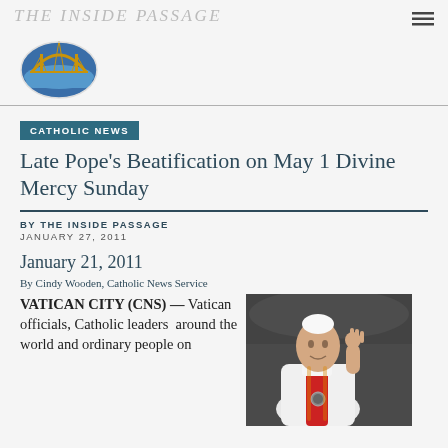THE INSIDE PASSAGE
[Figure (logo): The Inside Passage logo: a bridge over water with golden arch and blue circle]
CATHOLIC NEWS
Late Pope's Beatification on May 1 Divine Mercy Sunday
BY THE INSIDE PASSAGE
JANUARY 27, 2011
January 21, 2011
By Cindy Wooden, Catholic News Service
VATICAN CITY (CNS) — Vatican officials, Catholic leaders around the world and ordinary people on
[Figure (photo): A photograph of the late Pope John Paul II in white vestments and red stole, raising his right hand]